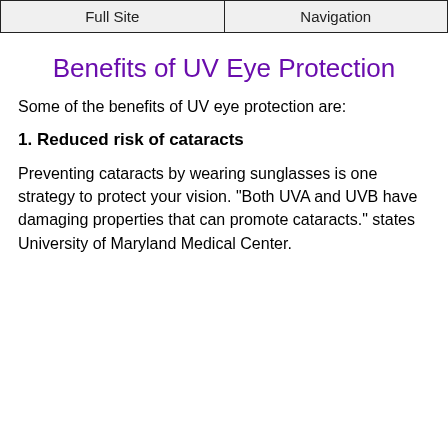Full Site | Navigation
Benefits of UV Eye Protection
Some of the benefits of UV eye protection are:
1. Reduced risk of cataracts
Preventing cataracts by wearing sunglasses is one strategy to protect your vision. "Both UVA and UVB have damaging properties that can promote cataracts." states University of Maryland Medical Center.